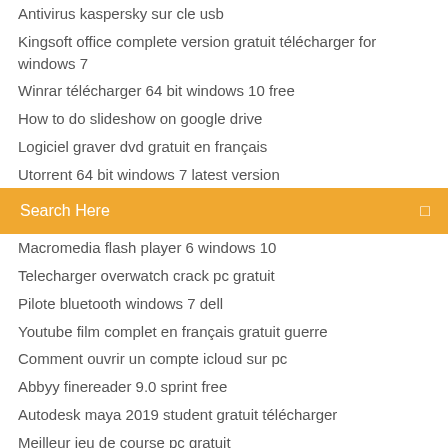Antivirus kaspersky sur cle usb
Kingsoft office complete version gratuit télécharger for windows 7
Winrar télécharger 64 bit windows 10 free
How to do slideshow on google drive
Logiciel graver dvd gratuit en français
Utorrent 64 bit windows 7 latest version
Search Here
Macromedia flash player 6 windows 10
Telecharger overwatch crack pc gratuit
Pilote bluetooth windows 7 dell
Youtube film complet en français gratuit guerre
Comment ouvrir un compte icloud sur pc
Abbyy finereader 9.0 sprint free
Autodesk maya 2019 student gratuit télécharger
Meilleur jeu de course pc gratuit
Mise à jour android 7.0 samsung
Google photos iphone not backing up